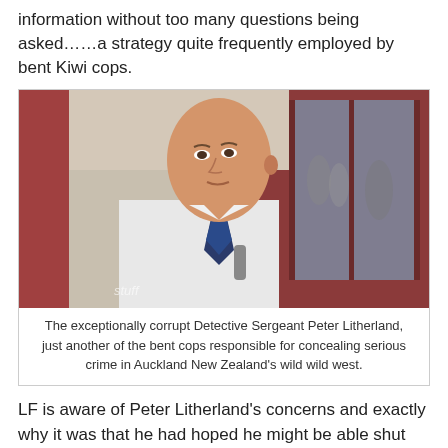information without too many questions being asked……a strategy quite frequently employed by bent Kiwi cops.
[Figure (photo): A bald man in a white shirt and dark tie, appearing to speak or be interviewed outdoors in front of a building with large glass doors and brick exterior.]
The exceptionally corrupt Detective Sergeant Peter Litherland, just another of the bent cops responsible for concealing serious crime in Auckland New Zealand's wild wild west.
LF is aware of Peter Litherland's concerns and exactly why it was that he had hoped he might be able shut down LF's coverage of the media corruption surrounding the investigation...